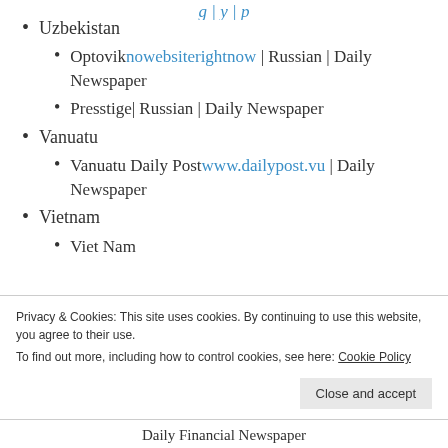Uzbekistan
Optovik nowebsiterightnow | Russian | Daily Newspaper
Presstige| Russian | Daily Newspaper
Vanuatu
Vanuatu Daily Post www.dailypost.vu | Daily Newspaper
Vietnam
Viet Nam
Privacy & Cookies: This site uses cookies. By continuing to use this website, you agree to their use.
To find out more, including how to control cookies, see here: Cookie Policy
Daily Financial Newspaper